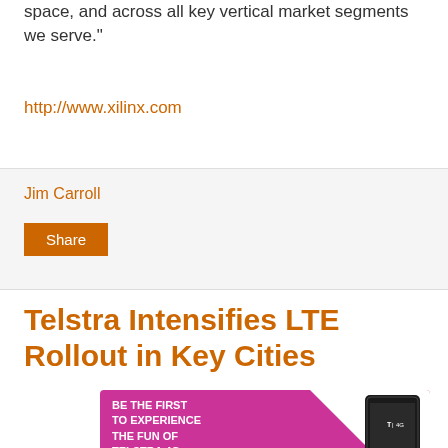space, and across all key vertical market segments we serve."
http://www.xilinx.com
Jim Carroll
Share
Telstra Intensifies LTE Rollout in Key Cities
[Figure (photo): Telstra 4G promotional advertisement showing a mobile device with magenta background and text: BE THE FIRST TO EXPERIENCE THE FUN OF TELSTRA 4G]